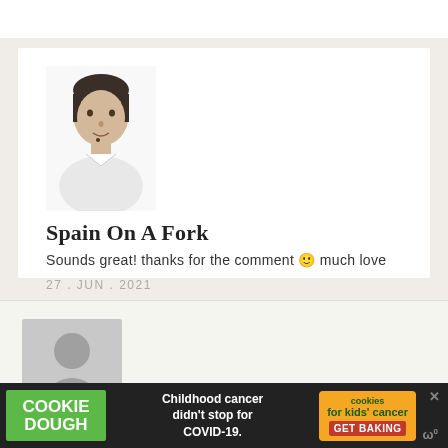[Figure (photo): Profile photo of a man with dark hair on white background]
Spain On A Fork
Sounds great! thanks for the comment 🙂 much love
27 . JUN . 2021
[Figure (photo): Generic grey silhouette avatar placeholder]
Friend
[Figure (infographic): Cookie Dough advertisement banner: Childhood cancer didn't stop for COVID-19. GET BAKING]